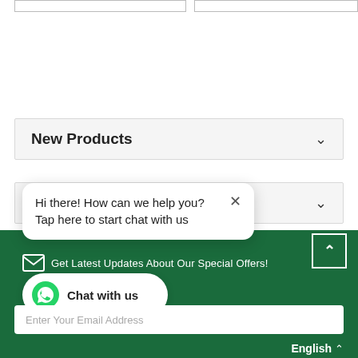[Figure (screenshot): Top portion showing two input/box elements side by side with borders]
New Products ∨
Special Product ∨
Hi there! How can we help you? Tap here to start chat with us
Chat with us
Get Latest Updates About Our Special Offers!
Enter Your Email Address
English ∧